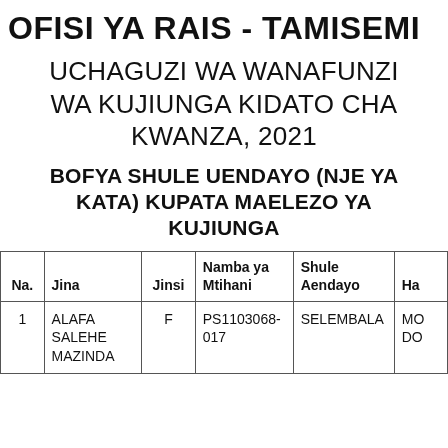OFISI YA RAIS - TAMISEMI
UCHAGUZI WA WANAFUNZI WA KUJIUNGA KIDATO CHA KWANZA, 2021
BOFYA SHULE UENDAYO (NJE YA KATA) KUPATA MAELEZO YA KUJIUNGA
| Na. | Jina | Jinsi | Namba ya Mtihani | Shule Aendayo | Ha... |
| --- | --- | --- | --- | --- | --- |
| 1 | ALAFA SALEHE MAZINDA | F | PS1103068-017 | SELEMBALA | MO... DO... |